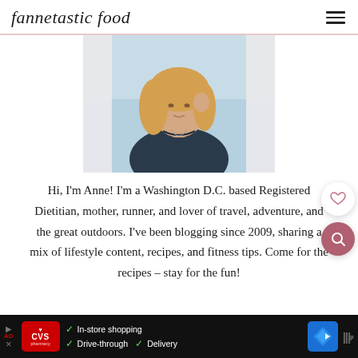fannetastic food
[Figure (photo): Photo of Anne, a woman with blonde hair wearing a dark navy t-shirt, posing with hand near face against a light blue/outdoor background]
Hi, I'm Anne! I'm a Washington D.C. based Registered Dietitian, mother, runner, and lover of travel, adventure, and the great outdoors. I've been blogging since 2009, sharing a mix of lifestyle content, recipes, and fitness tips. Come for the recipes – stay for the fun!
[Figure (infographic): CVS Pharmacy advertisement banner showing CVS logo and text: In-store shopping, Drive-through, Delivery with a navigation arrow icon]